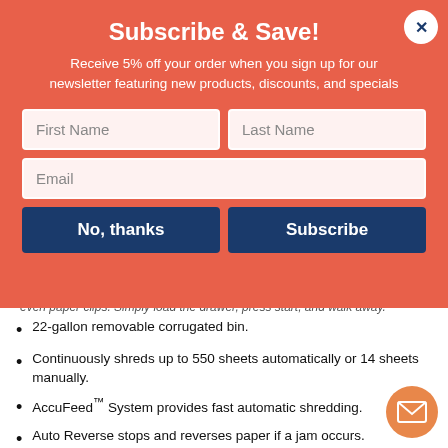Subscribe & Save!
Receive 5% off your order when you sign up for our newsletter featuring new products, discounts, and specials
First Name
Last Name
Email
No, thanks
Subscribe
even paper clips. Simply load the drawer, press start, and walk away.
22-gallon removable corrugated bin.
Continuously shreds up to 550 sheets automatically or 14 sheets manually.
AccuFeed™ System provides fast automatic shredding.
Auto Reverse stops and reverses paper if a jam occurs.
SilentShred™ offers ultra-quiet performance for shared workspaces.
Energy saving Sleep Mode feature shuts down the shredder after minutes of inactivity.
Innovative touch screen technology with back-lit LEDs.